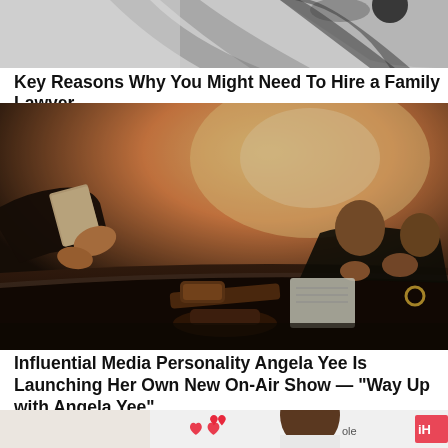[Figure (photo): Top portion of a photo, partially cropped, showing shadows on a light surface]
Key Reasons Why You Might Need To Hire a Family Lawyer
[Figure (photo): Lawyers sitting around a table with a gavel in the foreground, warm backlit office setting]
Influential Media Personality Angela Yee Is Launching Her Own New On-Air Show — “Way Up with Angela Yee”
[Figure (photo): Bottom portion of a photo showing a man at an iHeartRadio event, partially cropped]